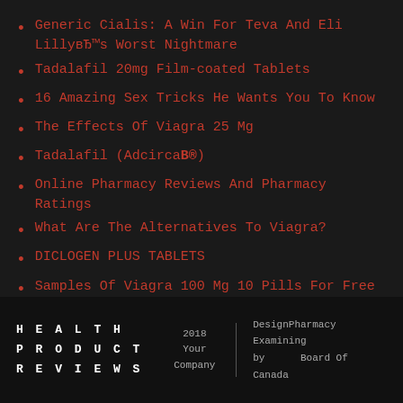Generic Cialis: A Win For Teva And Eli LillyвЂ™s Worst Nightmare
Tadalafil 20mg Film-coated Tablets
16 Amazing Sex Tricks He Wants You To Know
The Effects Of Viagra 25 Mg
Tadalafil (Adcircaв®)
Online Pharmacy Reviews And Pharmacy Ratings
What Are The Alternatives To Viagra?
DICLOGEN PLUS TABLETS
Samples Of Viagra 100 Mg 10 Pills For Free
Viagra, Cialis And Levitra вЂ” Which Is Best?
HEALTH PRODUCT REVIEWS   2018 Your Company   DesignPharmacy Examining by Board Of Canada